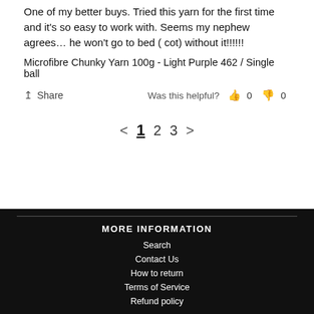One of my better buys. Tried this yarn for the first time and it's so easy to work with. Seems my nephew agrees… he won't go to bed ( cot) without it!!!!!!
Microfibre Chunky Yarn 100g - Light Purple 462 / Single ball
Share   Was this helpful?  👍 0  👎 0
< 1 2 3 >
MORE INFORMATION
Search
Contact Us
How to return
Terms of Service
Refund policy